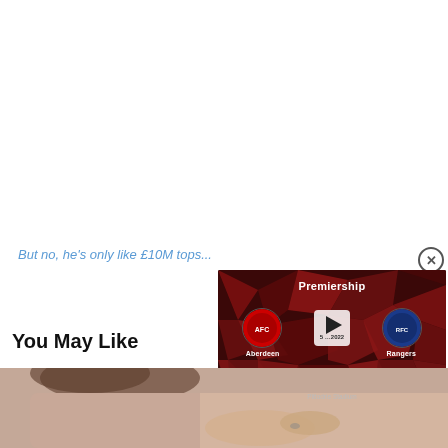But no, he's only like £10M tops...
[Figure (screenshot): Video widget showing a Scottish Premiership match between Aberdeen and Rangers at Pittodrie Stadium, with team badges, a play button, and a dark red geometric diamond background.]
You May Like
[Figure (photo): Partial photo of a person wearing a beige/mauve top, with hands visible, cropped at the bottom of the page.]